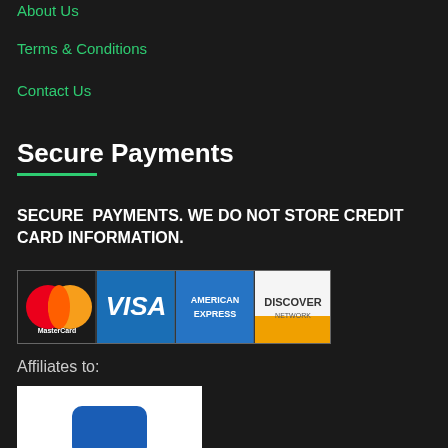About Us
Terms & Conditions
Contact Us
Secure Payments
SECURE PAYMENTS. WE DO NOT STORE CREDIT CARD INFORMATION.
[Figure (illustration): Payment card logos: MasterCard, VISA, American Express, Discover Network]
Affiliates to:
[Figure (logo): Affiliate logo (white background, blue icon, partially visible)]